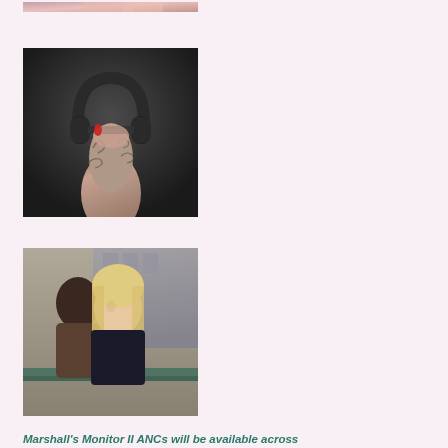[Figure (photo): Partial view of a hand/arm at top of page, cropped]
[Figure (photo): Tattooed arm holding black Marshall Monitor II ANC headphones against dark background]
[Figure (photo): Two people (a Black man and a blonde woman) leaning on a railing outdoors in an urban setting]
Marshall's Monitor II ANCs will be available across